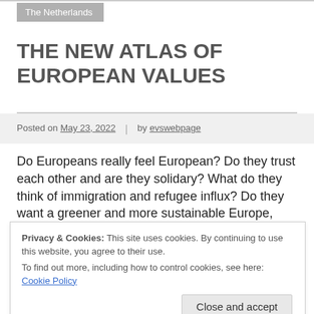The Netherlands
THE NEW ATLAS OF EUROPEAN VALUES
Posted on May 23, 2022  |  by evswebpage
Do Europeans really feel European? Do they trust each other and are they solidary? What do they think of immigration and refugee influx? Do they want a greener and more sustainable Europe, and at what
Privacy & Cookies: This site uses cookies. By continuing to use this website, you agree to their use.
To find out more, including how to control cookies, see here: Cookie Policy
pressing topics such as migration, democracy